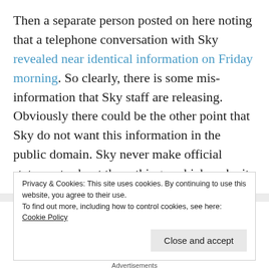Then a separate person posted on here noting that a telephone conversation with Sky revealed near identical information on Friday morning. So clearly, there is some mis-information that Sky staff are releasing. Obviously there could be the other point that Sky do not want this information in the public domain. Sky never make official statements about these things, which make it incredibly difficult to get a definitive answer. Do I think this is the end of it? I would be surprised. I'm not sure whether Sky's F1
Privacy & Cookies: This site uses cookies. By continuing to use this website, you agree to their use. To find out more, including how to control cookies, see here: Cookie Policy
Close and accept
Advertisements